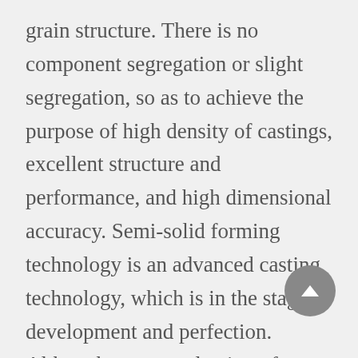grain structure. There is no component segregation or slight segregation, so as to achieve the purpose of high density of castings, excellent structure and performance, and high dimensional accuracy. Semi-solid forming technology is an advanced casting technology, which is in the stage of development and perfection. Although mass production of automobile wheels and electronic parts has been applied in the United States and Europe, the products are not cost-competitive in small batches. The fluidity of the metal melt during the solidification process is not only closely